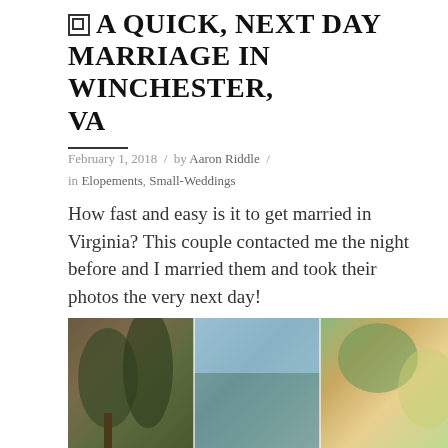A QUICK, NEXT DAY MARRIAGE IN WINCHESTER, VA
February 1, 2018 / by Aaron Riddle / in Elopements, Small-Weddings
How fast and easy is it to get married in Virginia? This couple contacted me the night before and I married them and took their photos the very next day!
+ READ MORE
[Figure (photo): Three outdoor autumn landscape photos showing trees, foliage, and scenic views in warm fall colors]